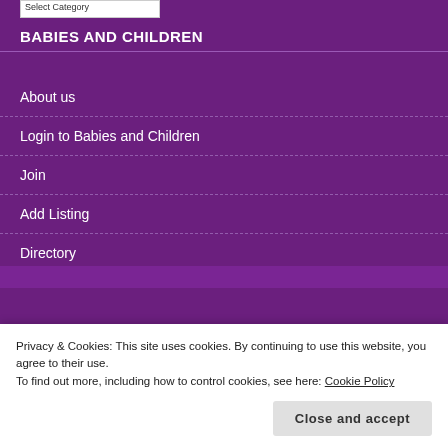BABIES AND CHILDREN
About us
Login to Babies and Children
Join
Add Listing
Directory
Member Dashboard
Write for us
Contact us
Privacy & Cookies: This site uses cookies. By continuing to use this website, you agree to their use.
To find out more, including how to control cookies, see here: Cookie Policy
Close and accept